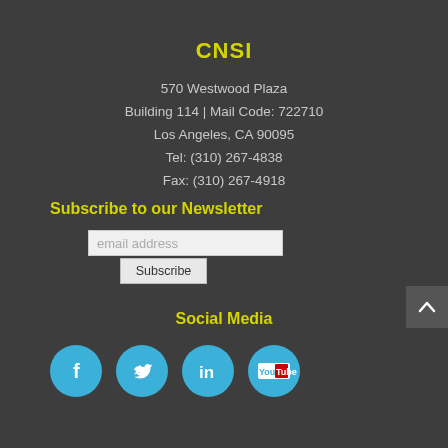CNSI
570 Westwood Plaza
Building 114 | Mail Code: 722710
Los Angeles, CA 90095
Tel: (310) 267-4838
Fax: (310) 267-4918
Subscribe to our Newsletter
[Figure (other): Email address input field with placeholder text 'email address' and a Subscribe button below it]
Social Media
[Figure (other): Four social media icons in blue circles: Facebook (f), Twitter (bird), LinkedIn (in), YouTube (You Tube logo)]